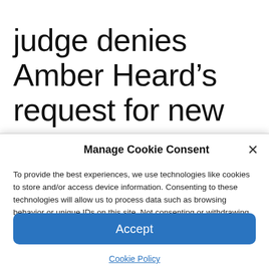judge denies Amber Heard’s request for new trial
Manage Cookie Consent
To provide the best experiences, we use technologies like cookies to store and/or access device information. Consenting to these technologies will allow us to process data such as browsing behavior or unique IDs on this site. Not consenting or withdrawing consent, may adversely affect certain features and functions.
Accept
Cookie Policy